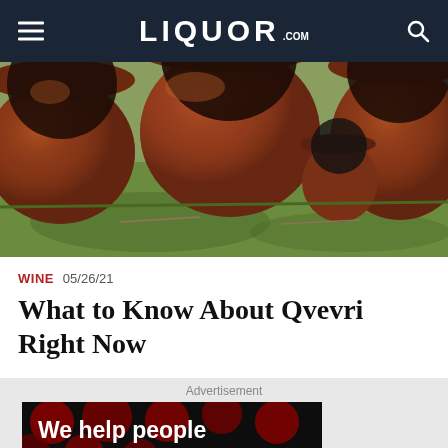LIQUOR.COM
[Figure (photo): Large terracotta qvevri (Georgian clay wine vessels) lying on their sides on green grass, viewed from close up showing circular openings]
WINE  05/26/21
What to Know About Qvevri Right Now
Advertisement
[Figure (other): Advertisement banner: dark background with red polka dots. Text reads 'We help people' in large white bold font. Bottom bar shows 'We help people find answers, solve problems and get inspired.' with Dotdash Meredith logo.]